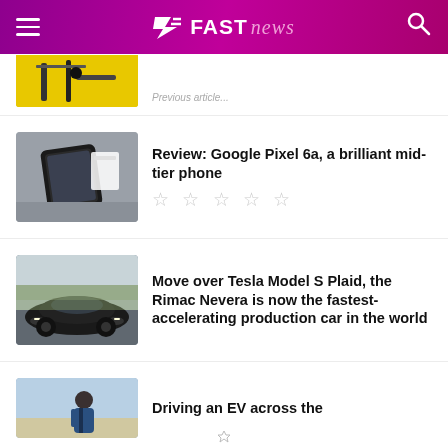FAST news
[Figure (photo): Partial view of a yellow and black drone/tool on yellow background, cropped at top]
[Figure (photo): Google Pixel 6a phone laid flat on a gray surface next to its box]
Review: Google Pixel 6a, a brilliant mid-tier phone
[Figure (photo): Dark sports car (Rimac Nevera) driving on a road, front view]
Move over Tesla Model S Plaid, the Rimac Nevera is now the fastest-accelerating production car in the world
[Figure (photo): Person in suit standing outdoors, partial view — EV driving article thumbnail]
Driving an EV across the